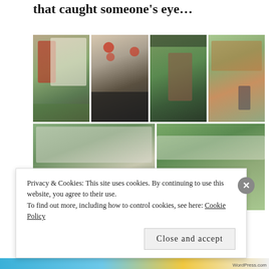that caught someone's eye…
[Figure (photo): Grid of 6 outdoor event photos showing people at what appears to be a medieval/renaissance faire with tents, costumes, and decorations]
Privacy & Cookies: This site uses cookies. By continuing to use this website, you agree to their use.
To find out more, including how to control cookies, see here: Cookie Policy
Close and accept